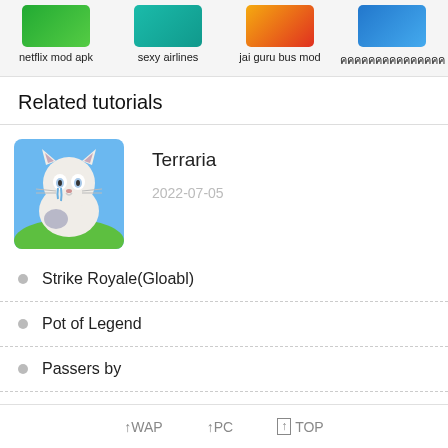[Figure (screenshot): Four app icons in a horizontal row: netflix mod apk, sexy airlines, jai guru bus mod, and one with non-Latin characters]
netflix mod apk
sexy airlines
jai guru bus mod
คคคคคคคคคคคคคคค
Related tutorials
[Figure (illustration): Cartoon cat illustration on blue and green background]
Terraria
2022-07-05
Strike Royale(Gloabl)
Pot of Legend
Passers by
↑WAP  ↑PC  ↑ TOP